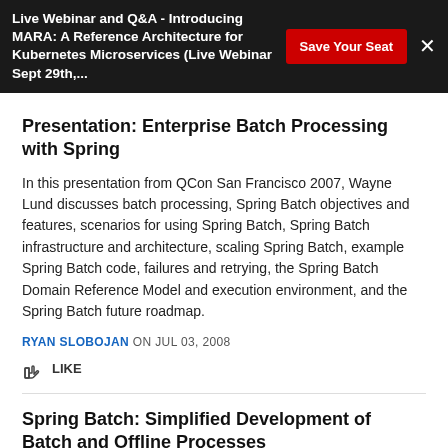Live Webinar and Q&A - Introducing MARA: A Reference Architecture for Kubernetes Microservices (Live Webinar Sept 29th,...
Presentation: Enterprise Batch Processing with Spring
In this presentation from QCon San Francisco 2007, Wayne Lund discusses batch processing, Spring Batch objectives and features, scenarios for using Spring Batch, Spring Batch infrastructure and architecture, scaling Spring Batch, example Spring Batch code, failures and retrying, the Spring Batch Domain Reference Model and execution environment, and the Spring Batch future roadmap.
RYAN SLOBOJAN ON JUL 03, 2008
LIKE
Spring Batch: Simplified Development of Batch and Offline Processes
The Spring Batch project, a lightweight and